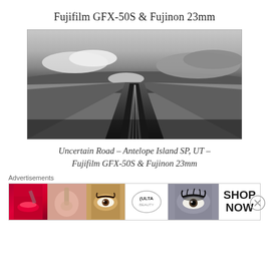Fujifilm GFX-50S & Fujinon 23mm
[Figure (photo): Black and white photograph of a long straight road stretching to the horizon with dramatic cloudy sky above. Taken at Antelope Island SP, UT with Fujifilm GFX-50S and Fujinon 23mm lens.]
Uncertain Road – Antelope Island SP, UT – Fujifilm GFX-50S & Fujinon 23mm
Advertisements
[Figure (photo): Advertisement banner for ULTA beauty products showing close-up images of lips with lipstick, makeup brush, eye with makeup, ULTA logo, another eye with dramatic makeup, and SHOP NOW text.]